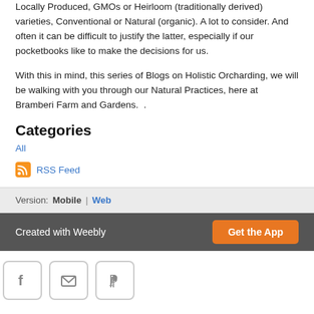Locally Produced, GMOs or Heirloom (traditionally derived) varieties, Conventional or Natural (organic).  A lot to consider. And often it can be difficult to justify the latter, especially if our pocketbooks like to make the decisions for us.
With this in mind, this series of Blogs on Holistic Orcharding, we will be walking with you through our Natural Practices, here at Bramberi Farm and Gardens.   .
Categories
All
RSS Feed
Version:  Mobile  |  Web
Created with Weebly  Get the App
[Figure (other): Social share buttons: Facebook, Email, Pinterest]